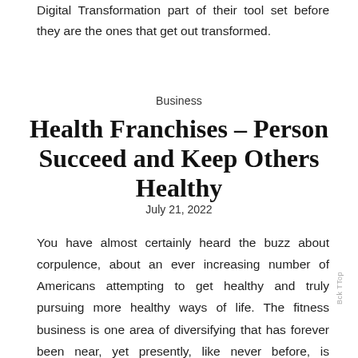Digital Transformation part of their tool set before they are the ones that get out transformed.
Business
Health Franchises – Person Succeed and Keep Others Healthy
July 21, 2022
You have almost certainly heard the buzz about corpulence, about an ever increasing number of Americans attempting to get healthy and truly pursuing more healthy ways of life. The fitness business is one area of diversifying that has forever been near, yet presently, like never before, is becoming one of the more quick moving, beneficial organizations to take